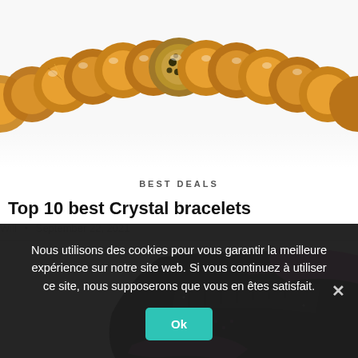[Figure (photo): Close-up photo of a crystal/amber bead bracelet with a leopard-print center bead, shown from above on white background]
BEST DEALS
Top 10 best Crystal bracelets
Will • September 22, 2021
[Figure (photo): Photo of a black and pink Skechers athletic sneaker, shown at an angle from above]
Nous utilisons des cookies pour vous garantir la meilleure expérience sur notre site web. Si vous continuez à utiliser ce site, nous supposerons que vous en êtes satisfait.